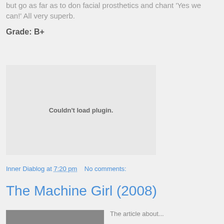but go as far as to don facial prosthetics and chant 'Yes we can!' All very superb.
Grade: B+
[Figure (other): Couldn't load plugin. Embedded media plugin placeholder area.]
Inner Diablog at 7:20 pm   No comments:
The Machine Girl (2008)